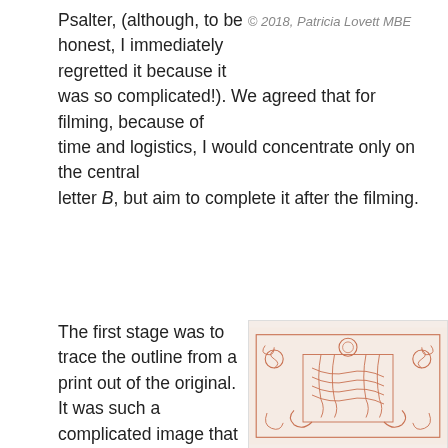Psalter, (although, to be © 2018, Patricia Lovett MBE honest, I immediately regretted it because it was so complicated!). We agreed that for filming, because of time and logistics, I would concentrate only on the central letter B, but aim to complete it after the filming.
The first stage was to trace the outline from a print out of the original. It was such a complicated image that the tracing alone took 5
[Figure (photo): A photograph of a tracing of an illuminated manuscript initial, showing intricate interlaced knotwork and decorative elements in reddish-brown ink on translucent tracing paper.]